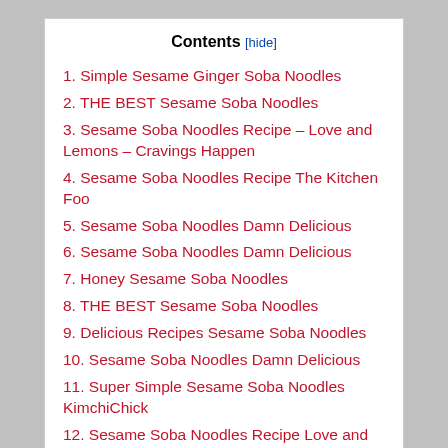Contents [hide]
1. Simple Sesame Ginger Soba Noodles
2. THE BEST Sesame Soba Noodles
3. Sesame Soba Noodles Recipe – Love and Lemons – Cravings Happen
4. Sesame Soba Noodles Recipe The Kitchen Foo
5. Sesame Soba Noodles Damn Delicious
6. Sesame Soba Noodles Damn Delicious
7. Honey Sesame Soba Noodles
8. THE BEST Sesame Soba Noodles
9. Delicious Recipes Sesame Soba Noodles
10. Sesame Soba Noodles Damn Delicious
11. Super Simple Sesame Soba Noodles KimchiChick
12. Sesame Soba Noodles Recipe Love and Lemons